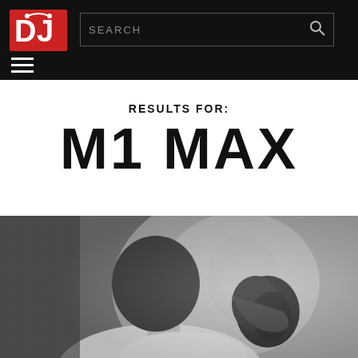DJ Mag — SEARCH
RESULTS FOR:
M1 MAX
[Figure (photo): Black and white photo of a bearded man shown from behind in profile, wearing a white shirt, with a blurred light background.]